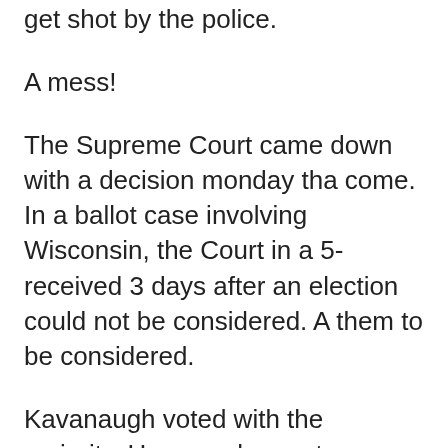get shot by the police.
A mess!
The Supreme Court came down with a decision monday tha come. In a ballot case involving Wisconsin, the Court in a 5- received 3 days after an election could not be considered. A them to be considered.
Kavanaugh voted with the majority. However he wrote a con obligation to write.
He wrote the acceptance of late ballots could “flip the results
No comment how Trump had hundreds of mail boxes and su removed. Obviously to be sure there would be no late ballot to be favorable to Trump.
Pennsylvania has a similar case coming up for decision soo